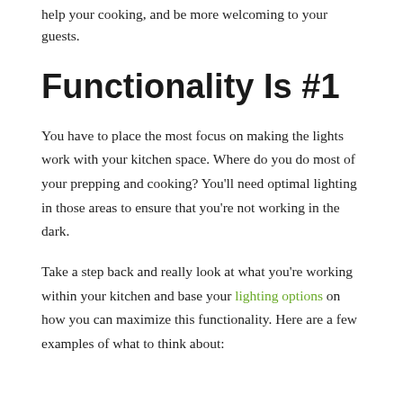help your cooking, and be more welcoming to your guests.
Functionality Is #1
You have to place the most focus on making the lights work with your kitchen space. Where do you do most of your prepping and cooking? You'll need optimal lighting in those areas to ensure that you're not working in the dark.
Take a step back and really look at what you're working within your kitchen and base your lighting options on how you can maximize this functionality. Here are a few examples of what to think about: